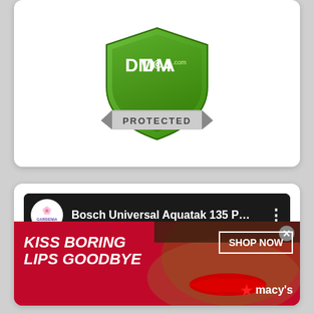[Figure (logo): DMCA Protected shield badge logo in green with silver ribbon banner]
[Figure (screenshot): YouTube-style video player with Gardenia channel icon, title 'Bosch Universal Aquatak 135 P...' and three-dot menu, black video content area]
[Figure (photo): Macy's advertisement banner: 'KISS BORING LIPS GOODBYE' with woman wearing red lipstick, SHOP NOW button and Macy's star logo]